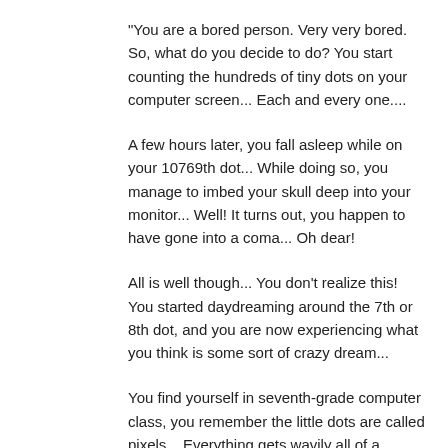"You are a bored person. Very very bored. So, what do you decide to do? You start counting the hundreds of tiny dots on your computer screen... Each and every one....
A few hours later, you fall asleep while on your 10769th dot... While doing so, you manage to imbed your skull deep into your monitor... Well! It turns out, you happen to have gone into a coma... Oh dear!
All is well though... You don't realize this! You started daydreaming around the 7th or 8th dot, and you are now experiencing what you think is some sort of crazy dream...
You find yourself in seventh-grade computer class, you remember the little dots are called pixels... Everything gets wavily all of a sudden, and you find yourself in a large black area...